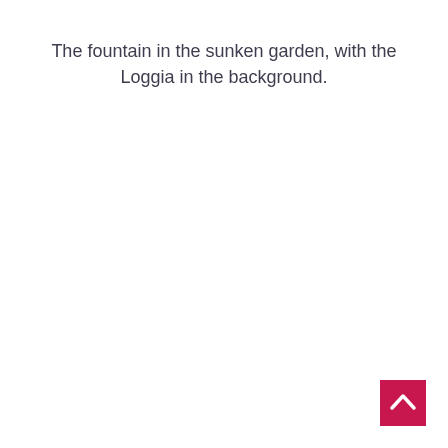The fountain in the sunken garden, with the Loggia in the background.
[Figure (other): Back to top button — crimson/pink square button with a white upward-pointing chevron arrow, positioned at bottom right corner of the page.]